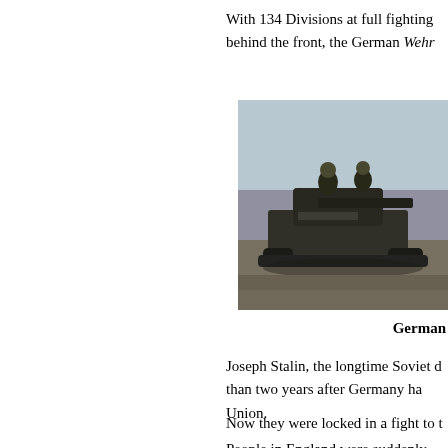With 134 Divisions at full fighting behind the front, the German Wehr
[Figure (photo): Black and white photograph of a German tank with soldiers on top, moving across open terrain.]
German
Joseph Stalin, the longtime Soviet d than two years after Germany ha Union.
Now they were locked in a fight to t
People in England were suddenly